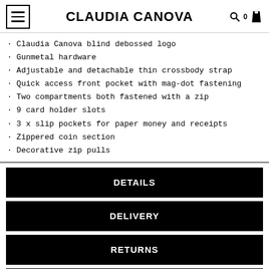CLAUDIA CANOVA
· Claudia Canova blind debossed logo
· Gunmetal hardware
· Adjustable and detachable thin crossbody strap
· Quick access front pocket with mag-dot fastening
· Two compartments both fastened with a zip
· 9 card holder slots
· 3 x slip pockets for paper money and receipts
· Zippered coin section
· Decorative zip pulls
DETAILS
DELIVERY
RETURNS
CARE